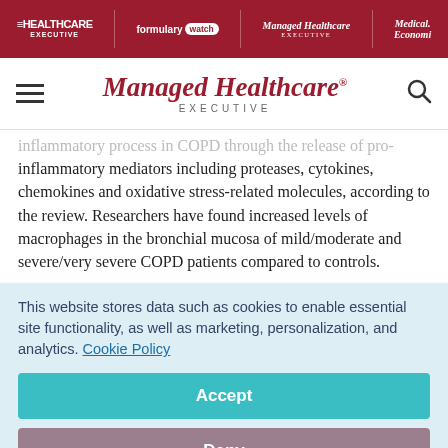HEALTHCARE EXECUTIVE | formulary watch | Managed Healthcare EXECUTIVE | Medical Economics
[Figure (logo): Managed Healthcare Executive logo with hamburger menu and search icon]
inflammatory process in COPD through the release of pro-inflammatory mediators including proteases, cytokines, chemokines and oxidative stress-related molecules, according to the review. Researchers have found increased levels of macrophages in the bronchial mucosa of mild/moderate and severe/very severe COPD patients compared to controls.
This website stores data such as cookies to enable essential site functionality, as well as marketing, personalization, and analytics. Cookie Policy
Accept
Deny